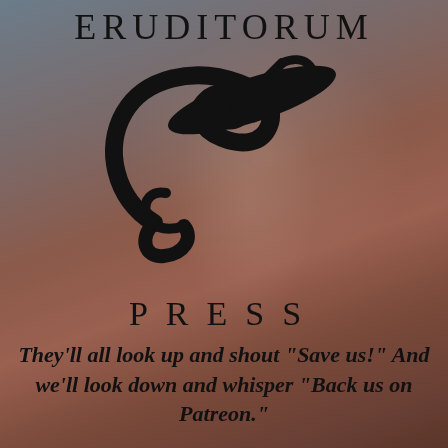ERUDITORUM
[Figure (logo): Eruditorum Press stylized 'EP' logo mark — a large calligraphic swirl forming the letter E/C combined with a P, rendered in black on a muted painterly background of teal, mauve, and terracotta tones.]
PRESS
They'll all look up and shout "Save us!" And we'll look down and whisper "Back us on Patreon."